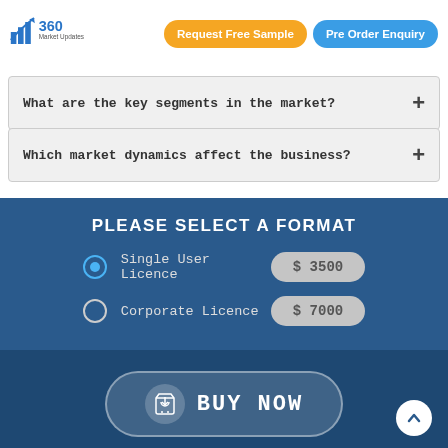[Figure (logo): 360 Market Updates logo with bar chart icon]
Request Free Sample
Pre Order Enquiry
What are the key segments in the market?
Which market dynamics affect the business?
PLEASE SELECT A FORMAT
Single User Licence   $ 3500
Corporate Licence   $ 7000
BUY NOW